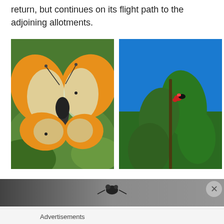return, but continues on its flight path to the adjoining allotments.
[Figure (photo): Close-up photograph of an orange-tip butterfly resting on green leaves, wings spread showing white wings with orange tips and dark body]
[Figure (photo): Photograph of a small red and black butterfly or insect perched on green leaves against a vivid blue sky]
[Figure (photo): Partial photograph at bottom of page showing a dark/blurry insect image with grey gradient background, partially obscured]
Advertisements